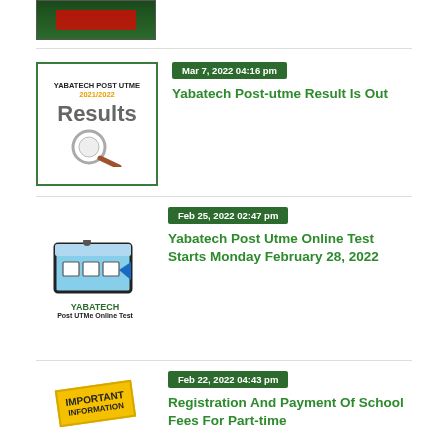[Figure (screenshot): Partial top image of a Yabatech application banner with green background]
[Figure (illustration): Yabatech Post UTME 2021/2022 Results image with magnifying glass]
Mar 7, 2022 04:16 pm
Yabatech Post-utme Result Is Out
[Figure (illustration): Yabatech Post UTMe Online Test image with monitor and YABATECH label]
Feb 25, 2022 02:47 pm
Yabatech Post Utme Online Test Starts Monday February 28, 2022
[Figure (illustration): Important Information badge image]
Feb 22, 2022 04:43 pm
Registration And Payment Of School Fees For Part-time